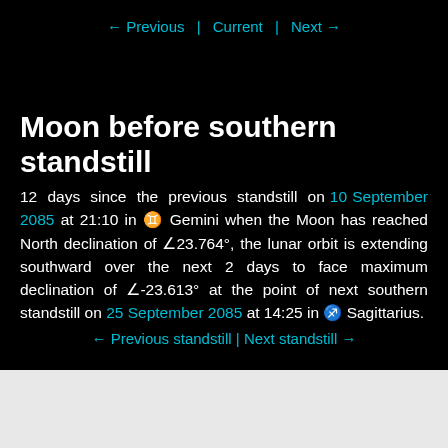← Previous  |  Current  |  Next →
Moon before southern standstill
12 days since the previous standstill on 10 September 2085 at 21:10 in ♊ Gemini when the Moon has reached North declination of ∠23.764°, the lunar orbit is extending southward over the next 2 days to face maximum declination of ∠-23.613° at the point of next southern standstill on 25 September 2085 at 14:25 in ♐ Sagittarius.
← Previous standstill  |  Next standstill →